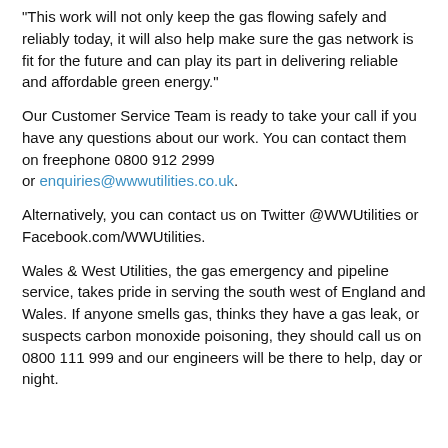"This work will not only keep the gas flowing safely and reliably today, it will also help make sure the gas network is fit for the future and can play its part in delivering reliable and affordable green energy."
Our Customer Service Team is ready to take your call if you have any questions about our work. You can contact them on freephone 0800 912 2999 or enquiries@wwwutilities.co.uk.
Alternatively, you can contact us on Twitter @WWUtilities or Facebook.com/WWUtilities.
Wales & West Utilities, the gas emergency and pipeline service, takes pride in serving the south west of England and Wales. If anyone smells gas, thinks they have a gas leak, or suspects carbon monoxide poisoning, they should call us on 0800 111 999 and our engineers will be there to help, day or night.